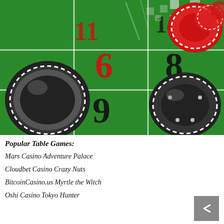[Figure (photo): Close-up photo of a casino roulette table with green felt, red numbers (3, 6, 9), black numbers (8, 2), white grid lines, and casino chips (black/white and red/white) scattered on the table surface.]
Popular Table Games:
Mars Casino Adventure Palace
Cloudbet Casino Crazy Nuts
BitcoinCasino.us Myrtle the Witch
Oshi Casino Tokyo Hunter